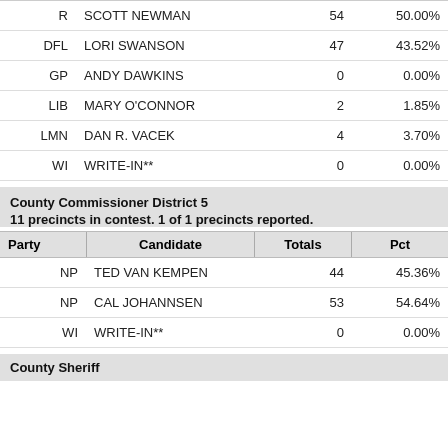| Party | Candidate | Totals | Pct |
| --- | --- | --- | --- |
| R | SCOTT NEWMAN | 54 | 50.00% |
| DFL | LORI SWANSON | 47 | 43.52% |
| GP | ANDY DAWKINS | 0 | 0.00% |
| LIB | MARY O'CONNOR | 2 | 1.85% |
| LMN | DAN R. VACEK | 4 | 3.70% |
| WI | WRITE-IN** | 0 | 0.00% |
County Commissioner District 5
11 precincts in contest. 1 of 1 precincts reported.
| Party | Candidate | Totals | Pct |
| --- | --- | --- | --- |
| NP | TED VAN KEMPEN | 44 | 45.36% |
| NP | CAL JOHANNSEN | 53 | 54.64% |
| WI | WRITE-IN** | 0 | 0.00% |
County Sheriff